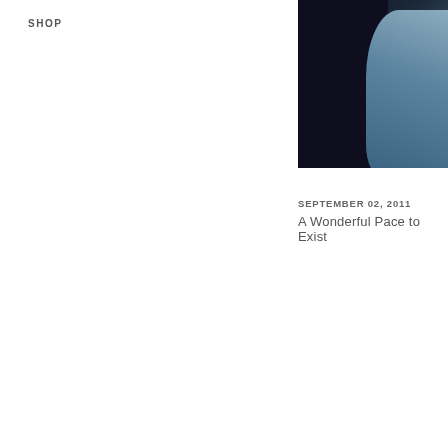SHOP
[Figure (photo): Close-up photo of a person wearing a denim jacket against a dark background, partially cropped at the right edge of the page]
SEPTEMBER 02, 2011
A Wonderful Pace to Exist